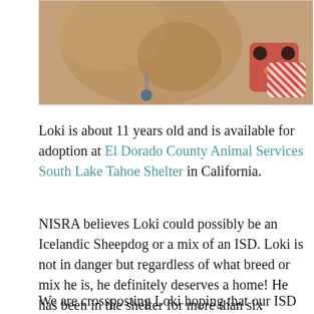[Figure (photo): Close-up photo of a dog with a collar and tags, with stuffed animal toys visible in the background]
Loki is about 11 years old and is available for adoption at El Dorado County Animal Services South Lake Tahoe Shelter in California.
NISRA believes Loki could possibly be an Icelandic Sheepdog or a mix of an ISD. Loki is not in danger but regardless of what breed or mix he is, he definitely deserves a home! He has been in the shelter for more than six months.
We are crossposting Loki hoping that our ISD community can help get the word out and find someone